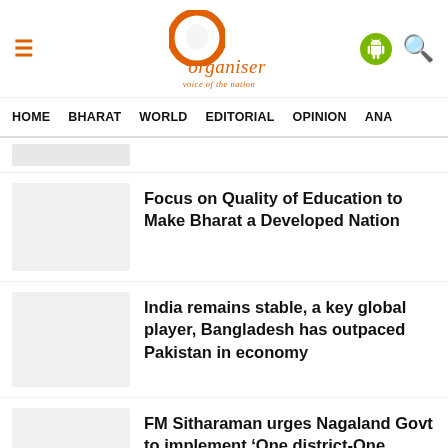Organiser – voice of the nation
HOME  BHARAT  WORLD  EDITORIAL  OPINION  ANA
Focus on Quality of Education to Make Bharat a Developed Nation
India remains stable, a key global player, Bangladesh has outpaced Pakistan in economy
FM Sitharaman urges Nagaland Govt to implement 'One district-One product'
Assam: 6 Al Qaeda terrorist entered India as Imams to speak at a Islamic religious function, 2 Imams arrested so far